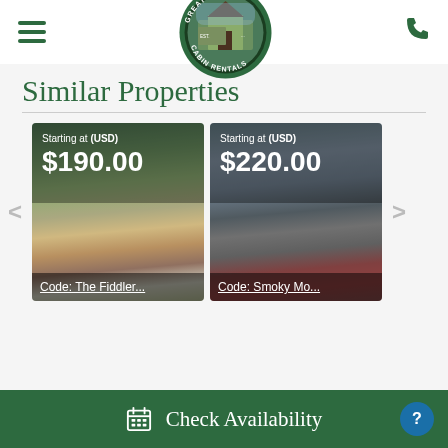[Figure (logo): Great Smokys Cabin Rentals oval logo with green border, cabin image in center]
Similar Properties
[Figure (photo): Cabin rental card showing hot tub, starting at $190.00 USD, Code: The Fiddler...]
[Figure (photo): Cabin rental card showing outdoor dining area, starting at $220.00 USD, Code: Smoky Mo...]
Check Availability